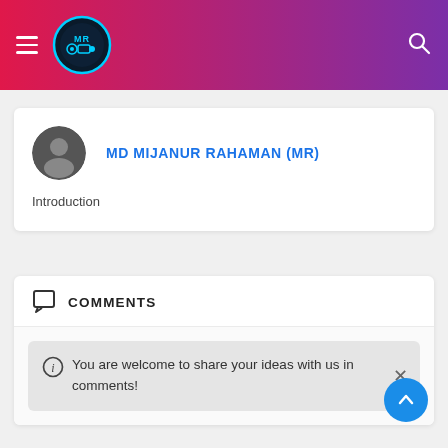MD MIJANUR RAHAMAN (MR) — site header with logo
MD MIJANUR RAHAMAN (MR)
Introduction
COMMENTS
You are welcome to share your ideas with us in comments!